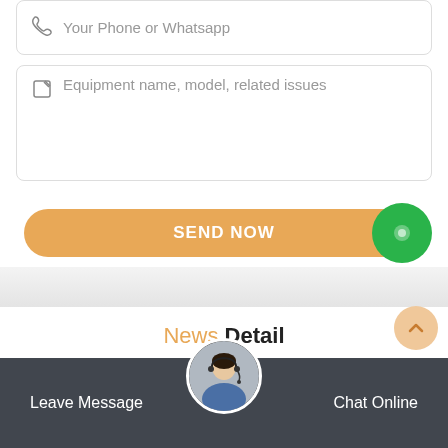[Figure (screenshot): Form input field for phone or WhatsApp with phone icon]
[Figure (screenshot): Textarea input field for equipment name, model, related issues with edit icon]
[Figure (screenshot): Send Now button (orange, rounded) and green circle chat button]
News Detail
[Figure (screenshot): Bottom bar with Leave Message and Chat Online text, and a female customer service avatar in a circle]
[Figure (screenshot): Back to top arrow circle button]